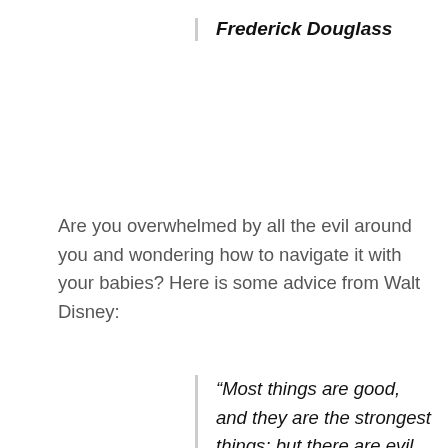Frederick Douglass
Are you overwhelmed by all the evil around you and wondering how to navigate it with your babies? Here is some advice from Walt Disney:
“Most things are good, and they are the strongest things; but there are evil things too, and you are not doing a child a favor by trying to shield him from reality. The important thing is to teach a child